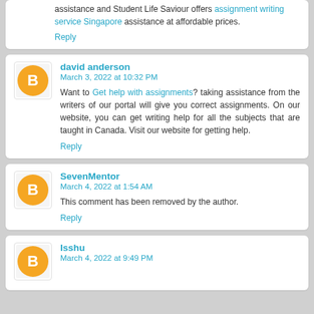assistance and Student Life Saviour offers assignment writing service Singapore assistance at affordable prices.
Reply
david anderson
March 3, 2022 at 10:32 PM
Want to Get help with assignments? taking assistance from the writers of our portal will give you correct assignments. On our website, you can get writing help for all the subjects that are taught in Canada. Visit our website for getting help.
Reply
SevenMentor
March 4, 2022 at 1:54 AM
This comment has been removed by the author.
Reply
Isshu
March 4, 2022 at 9:49 PM